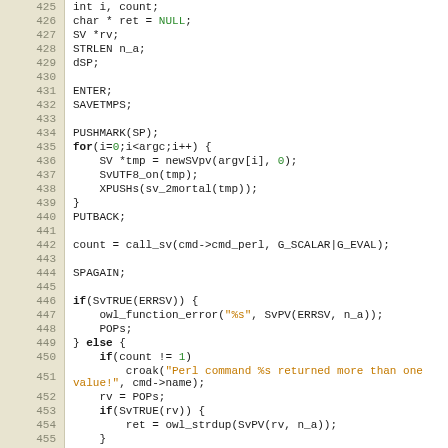[Figure (screenshot): Source code listing in C showing lines 425-456, with line numbers in a tan/beige gutter on the left and code on white background. Code includes variable declarations, ENTER/SAVETMPS macros, a for loop pushing SV values, call_sv invocation, SPAGAIN, error handling with if/else blocks, and return value handling.]